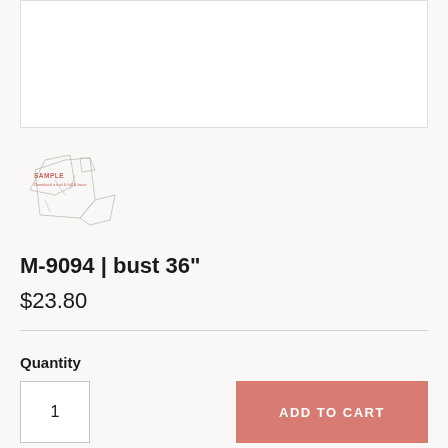[Figure (photo): Large main product image area - white/empty box with light border]
[Figure (illustration): Small thumbnail of sewing pattern pieces with 'SAMPLE' text in red/pink overlay]
M-9094 | bust 36"
$23.80
Quantity
1
ADD TO CART